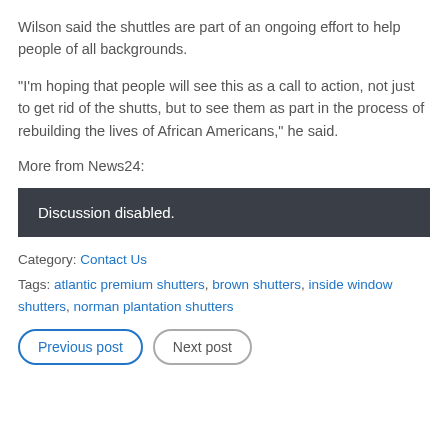Wilson said the shuttles are part of an ongoing effort to help people of all backgrounds.
“I’m hoping that people will see this as a call to action, not just to get rid of the shutts, but to see them as part in the process of rebuilding the lives of African Americans,” he said.
More from News24:
Discussion disabled.
Category: Contact Us
Tags: atlantic premium shutters, brown shutters, inside window shutters, norman plantation shutters
Previous post
Next post